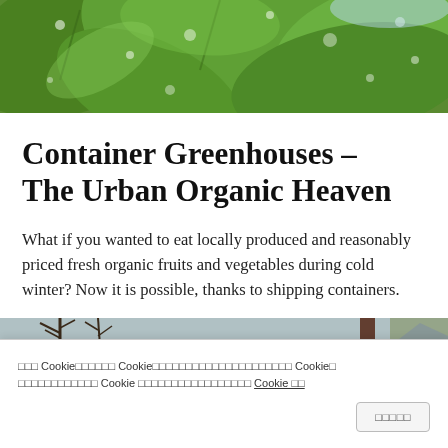[Figure (photo): Close-up photo of green leaves with water droplets]
Container Greenhouses – The Urban Organic Heaven
What if you wanted to eat locally produced and reasonably priced fresh organic fruits and vegetables during cold winter? Now it is possible, thanks to shipping containers.
[Figure (photo): Outdoor scene with bare trees and a structure, partial view]
□□□ Cookie□□□□□□ Cookie□□□□□□□□□□□□□□□□□□□□□ Cookie□ □□□□□□□□□□□ Cookie □□□□□□□□□□□□□□□□□ Cookie □□
□□□□□